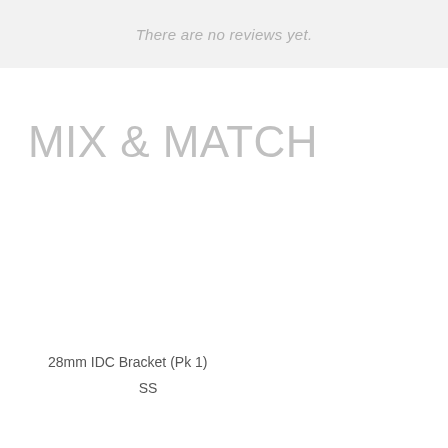There are no reviews yet.
MIX & MATCH
28mm IDC Bracket (Pk 1)
SS